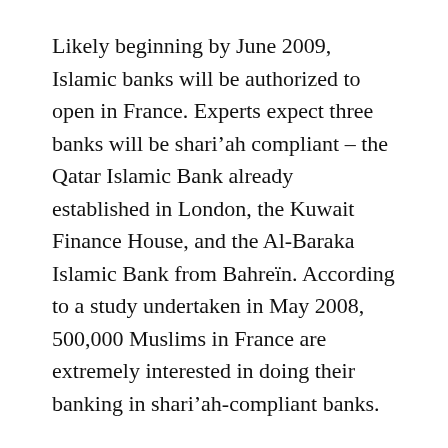Likely beginning by June 2009, Islamic banks will be authorized to open in France. Experts expect three banks will be shari’ah compliant – the Qatar Islamic Bank already established in London, the Kuwait Finance House, and the Al-Baraka Islamic Bank from Bahreïn. According to a study undertaken in May 2008, 500,000 Muslims in France are extremely interested in doing their banking in shari’ah-compliant banks.
In the recent second French forum on Islamic banking, Christine Lagarde, Minister of the Economy claimed that, “We are determined to make Paris an important site for Islamic finance.”